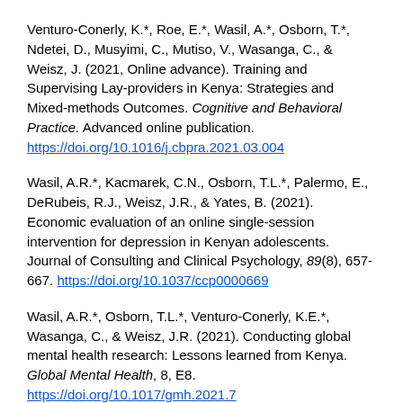Venturo-Conerly, K.*, Roe, E.*, Wasil, A.*, Osborn, T.*, Ndetei, D., Musyimi, C., Mutiso, V., Wasanga, C., & Weisz, J. (2021, Online advance). Training and Supervising Lay-providers in Kenya: Strategies and Mixed-methods Outcomes. Cognitive and Behavioral Practice. Advanced online publication. https://doi.org/10.1016/j.cbpra.2021.03.004
Wasil, A.R.*, Kacmarek, C.N., Osborn, T.L.*, Palermo, E., DeRubeis, R.J., Weisz, J.R., & Yates, B. (2021). Economic evaluation of an online single-session intervention for depression in Kenyan adolescents. Journal of Consulting and Clinical Psychology, 89(8), 657-667. https://doi.org/10.1037/ccp0000669
Wasil, A.R.*, Osborn, T.L.*, Venturo-Conerly, K.E.*, Wasanga, C., & Weisz, J.R. (2021). Conducting global mental health research: Lessons learned from Kenya. Global Mental Health, 8, E8. https://doi.org/10.1017/gmh.2021.7